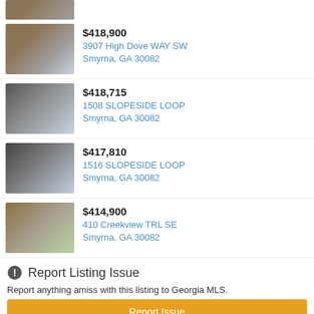[Figure (photo): Partial top of a house listing photo (cropped)]
$418,900
3907 High Dove WAY SW
Smyrna, GA 30082
$418,715
1508 SLOPESIDE LOOP
Smyrna, GA 30082
$417,810
1516 SLOPESIDE LOOP
Smyrna, GA 30082
$414,900
410 Creekview TRL SE
Smyrna, GA 30082
Report Listing Issue
Report anything amiss with this listing to Georgia MLS.
Report Issue
Permalink: https://www.georgiamls.com/3947-towbridge-court-sw-smyrna-ga-30082/8920429